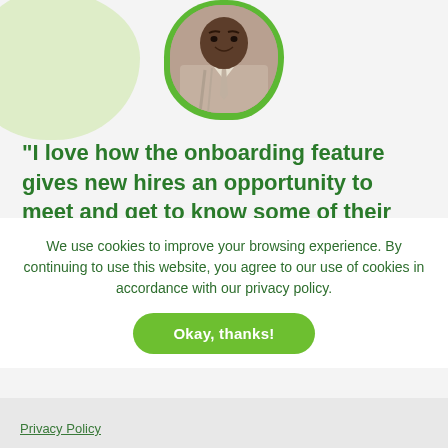[Figure (photo): Circular portrait photo of a man in a suit with a green blob background, positioned at the top center of the page. A light green decorative blob is visible in the top-left corner.]
"I love how the onboarding feature gives new hires an opportunity to meet and get to know some of their teammates, while also getting all their paperwork done in a very efficient way."
We use cookies to improve your browsing experience. By continuing to use this website, you agree to our use of cookies in accordance with our privacy policy.
Okay, thanks!
Privacy Policy